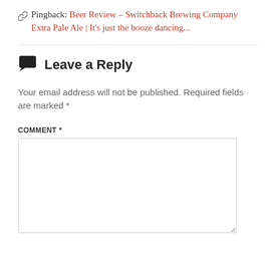Pingback: Beer Review – Switchback Brewing Company Extra Pale Ale | It's just the booze dancing...
Leave a Reply
Your email address will not be published. Required fields are marked *
COMMENT *